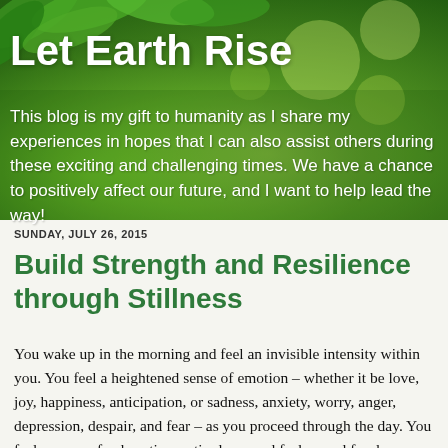[Figure (photo): Green leaves background banner with gradient green tones]
Let Earth Rise
This blog is my gift to humanity as I share my experiences in hopes that I can also assist others during these exciting and challenging times. We have a chance to positively affect our future, and I want to help lead the way!
SUNDAY, JULY 26, 2015
Build Strength and Resilience through Stillness
You wake up in the morning and feel an invisible intensity within you.  You feel a heightened sense of emotion – whether it be love, joy, happiness, anticipation, or sadness, anxiety, worry, anger, depression, despair, and fear – as you proceed through the day.  You feel a sense of exhaustion or tiredness and feel a need for deeper rest than usual.  You are having intense headaches or migraines.  You feel unexplainable deep aches within your body...